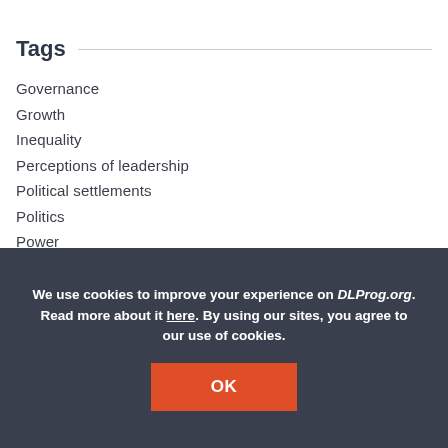Tags
Governance
Growth
Inequality
Perceptions of leadership
Political settlements
Politics
Power
We use cookies to improve your experience on DLProg.org. Read more about it here. By using our sites, you agree to our use of cookies.